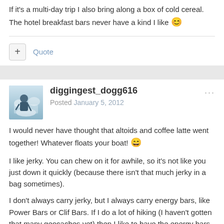If it's a multi-day trip I also bring along a box of cold cereal. The hotel breakfast bars never have a kind I like 😊
+ Quote
diggingest_dogg616
Posted January 5, 2012
I would never have thought that altoids and coffee latte went together! Whatever floats your boat! 😄
I like jerky. You can chew on it for awhile, so it's not like you just down it quickly (because there isn't that much jerky in a bag sometimes).
I don't always carry jerky, but I always carry energy bars, like Power Bars or Clif Bars. If I do a lot of hiking (I haven't gotten that many geocaches yet) then I like to have the energy bars to snack on. If it's a hard hike, then I like the "recovery" Power Bars. They're supposed to do something for muscle repair and I think they might actually work 🙁